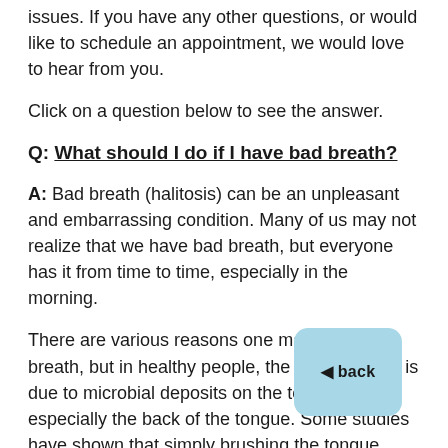issues. If you have any other questions, or would like to schedule an appointment, we would love to hear from you.
Click on a question below to see the answer.
Q: What should I do if I have bad breath?
A: Bad breath (halitosis) can be an unpleasant and embarrassing condition. Many of us may not realize that we have bad breath, but everyone has it from time to time, especially in the morning.
There are various reasons one may have bad breath, but in healthy people, the major reason is due to microbial deposits on the tongue, especially the back of the tongue. Some studies have shown that simply brushing the tongue reduced bad breath by as much as